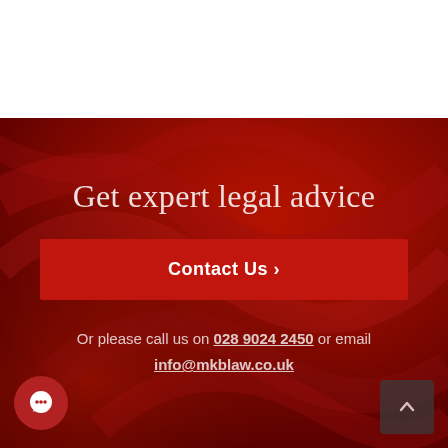Get expert legal advice
Contact Us ›
Or please call us on 028 9024 2450 or email info@mkblaw.co.uk